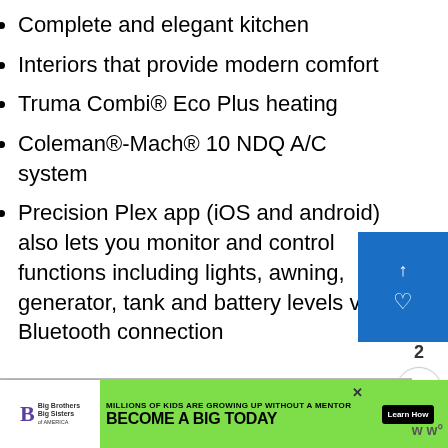Complete and elegant kitchen
Interiors that provide modern comfort
Truma Combi® Eco Plus heating
Coleman®-Mach® 10 NDQ A/C system
Precision Plex app (iOS and android) also lets you monitor and control functions including lights, awning, generator, tank and battery levels via Bluetooth connection
[Figure (photo): Photo of three healthcare workers wearing masks and scrubs, holding cards. A 'What's Next' panel shows a thumbnail and text 'Who Makes Winnebago...']
[Figure (infographic): Advertisement banner: Big Brothers Big Sisters logo, green background with text 'MILLIONS OF KIDS ARE GROWING UP WITHOUT A MENTOR. BECOME A BIG TODAY' and 'Learn How' button]